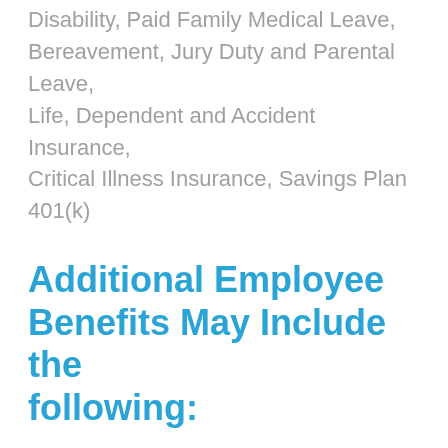Disability, Paid Family Medical Leave, Bereavement, Jury Duty and Parental Leave, Life, Dependent and Accident Insurance, Critical Illness Insurance, Savings Plan 401(k)
Additional Employee Benefits May Include the following:
Company Paid Retirement Benefit, Employee Stock Purchase Plan, Paid Holidays, Flexible Spending Accounts (FSAs), Health Savings Account (HSA), Time Off and Flexible Days, Group Legal Plan, Group Home Auto Insurance, Pet Insurance, Employee Discounts, Adoption Reimbursement, Tuition Reimbursement and